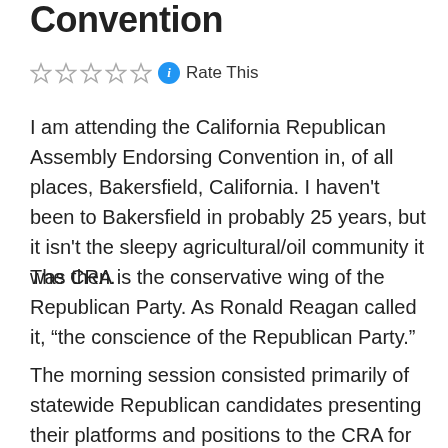Convention
Rate This
I am attending the California Republican Assembly Endorsing Convention in, of all places, Bakersfield, California. I haven't been to Bakersfield in probably 25 years, but it isn't the sleepy agricultural/oil community it was then.
The CRA is the conservative wing of the Republican Party. As Ronald Reagan called it, “the conscience of the Republican Party.”
The morning session consisted primarily of statewide Republican candidates presenting their platforms and positions to the CRA for endorsement. There are a few contested offices where more than one Republican is